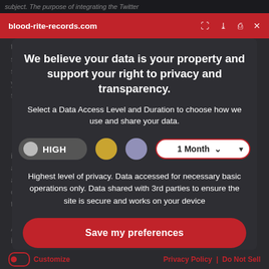blood-rite-records.com
We believe your data is your property and support your right to privacy and transparency.
Select a Data Access Level and Duration to choose how we use and share your data.
HIGH | [gold circle] | [purple circle] | 1 Month
Highest level of privacy. Data accessed for necessary basic operations only. Data shared with 3rd parties to ensure the site is secure and works on your device
Save my preferences
Customize | Privacy Policy | Do Not Sell